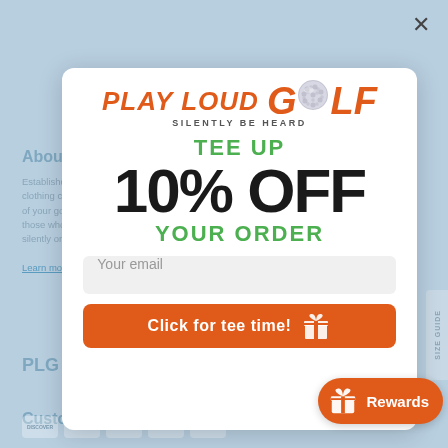[Figure (screenshot): Play Loud Golf website popup modal offering 10% off order with email signup. Background shows blurred website content. Modal contains Play Loud Golf logo, TEE UP text, 10% OFF in large text, YOUR ORDER text, email input field, and orange CTA button. Rewards pill button visible at bottom right.]
PLAY LOUD GOLF
SILENTLY BE HEARD
TEE UP
10% OFF
YOUR ORDER
Your email
Click for tee time!
Rewards